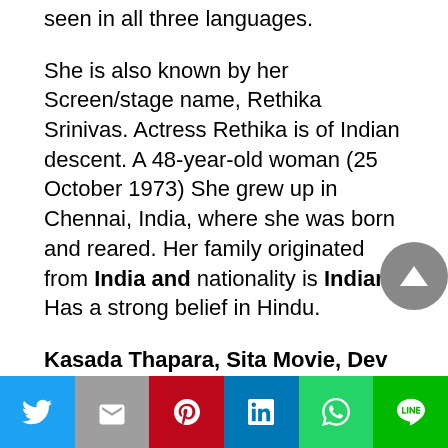seen in all three languages.
She is also known by her Screen/stage name, Rethika Srinivas. Actress Rethika is of Indian descent. A 48-year-old woman (25 October 1973) She grew up in Chennai, India, where she was born and reared. Her family originated from India and nationality is Indian. Has a strong belief in Hindu.
Kasada Thapara, Sita Movie, Dev 2019, Tik Tik Tik, Mannar Vagaiyara, Aayirathil Iruvar, Saravanan Irukka Bayamaen, Rakshasudu, Massu Engira Masilamani, Janda Pai Kapiraju
Twitter | Mail | Pinterest | LinkedIn | WhatsApp | Line